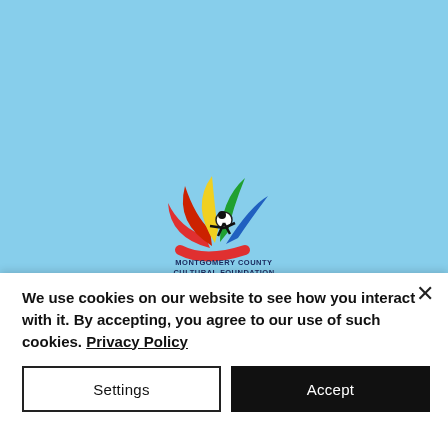[Figure (logo): Montgomery County Cultural Foundation logo: colorful fan-shaped design with a stylized figure, in red, yellow, green, and blue, with text 'Montgomery County Cultural Foundation' beneath]
We use cookies on our website to see how you interact with it. By accepting, you agree to our use of such cookies. Privacy Policy
Settings
Accept